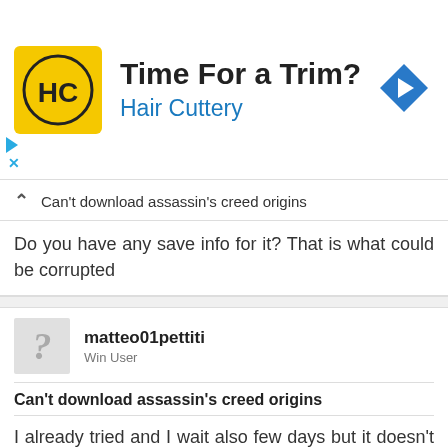[Figure (infographic): Hair Cuttery advertisement banner with yellow logo showing HC initials, title 'Time For a Trim?', subtitle 'Hair Cuttery', and a blue diamond direction arrow on the right. Small blue play triangle and X close button at bottom left.]
Can't download assassin's creed origins
Do you have any save info for it? That is what could be corrupted
matteo01pettiti
Win User
Can't download assassin's creed origins
I already tried and I wait also few days but it doesn't work
XBF Chris J